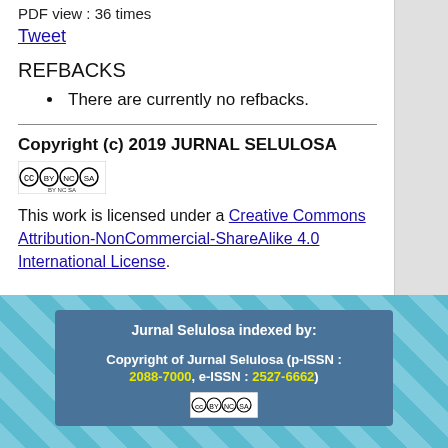PDF view : 36 times
Tweet
REFBACKS
There are currently no refbacks.
Copyright (c) 2019 JURNAL SELULOSA
[Figure (logo): Creative Commons BY NC SA license icon]
This work is licensed under a Creative Commons Attribution-NonCommercial-ShareAlike 4.0 International License.
Jurnal Selulosa indexed by:
Copyright of Jurnal Selulosa (p-ISSN : 2088-7000, e-ISSN : 2527-6662)
[Figure (logo): Creative Commons license icon in footer]